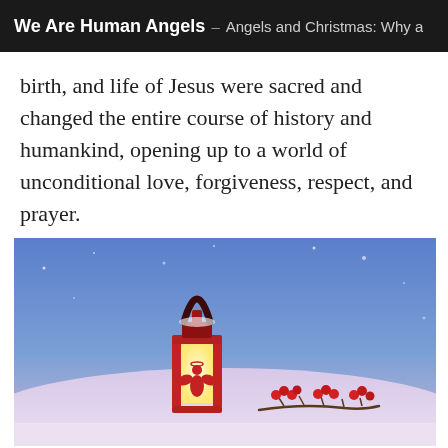We Are Human Angels — Angels and Christmas: Why a
birth, and life of Jesus were sacred and changed the entire course of history and humankind, opening up to a world of unconditional love, forgiveness, respect, and prayer.
[Figure (photo): A red Christmas lantern with an angel silhouette cutout, glowing warmly from inside, placed in snow with red berries on a branch nearby, against a blue snowy background.]